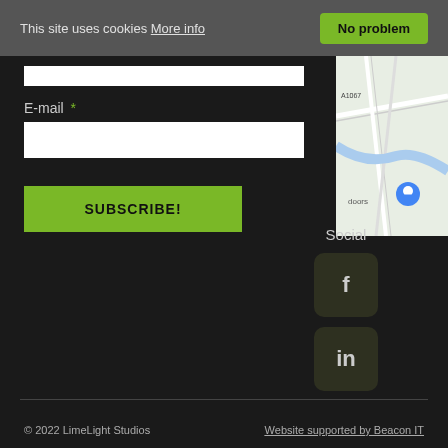This site uses cookies More info
No problem
E-mail *
[Figure (other): Subscribe button with green background labeled SUBSCRIBE!]
Social
[Figure (other): Facebook social icon button (f) dark rounded square]
[Figure (other): LinkedIn social icon button (in) dark rounded square]
[Figure (map): Google Maps snippet showing road A1067 and a blue location pin near 'doors']
© 2022 LimeLight Studios   Website supported by Beacon IT